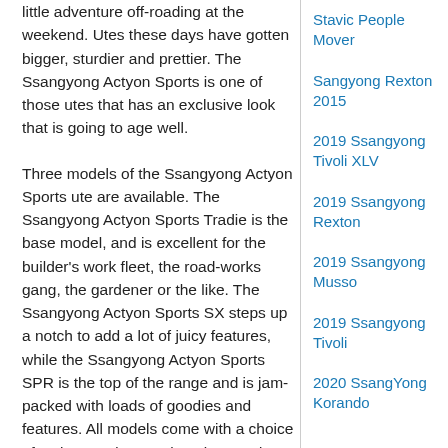little adventure off-roading at the weekend. Utes these days have gotten bigger, sturdier and prettier. The Ssangyong Actyon Sports is one of those utes that has an exclusive look that is going to age well.
Three models of the Ssangyong Actyon Sports ute are available. The Ssangyong Actyon Sports Tradie is the base model, and is excellent for the builder's work fleet, the road-works gang, the gardener or the like. The Ssangyong Actyon Sports SX steps up a notch to add a lot of juicy features, while the Ssangyong Actyon Sports SPR is the top of the range and is jam-packed with loads of goodies and features. All models come with a choice of a six-speed manual or six-speed automatic gearbox.
Let's take the Ssangyong Actyon Sports Tradie, and have a closer look. It's a ute that's ready to
Stavic People Mover
Sangyong Rexton 2015
2019 Ssangyong Tivoli XLV
2019 Ssangyong Rexton
2019 Ssangyong Musso
2019 Ssangyong Tivoli
2020 SsangYong Korando